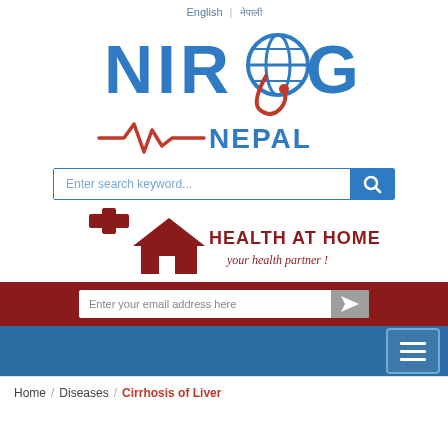English | नेपाली
[Figure (logo): NIROGI logo with globe/stethoscope icon in blue letters]
[Figure (logo): Heartbeat line with NEPAL text in blue]
[Figure (screenshot): Search bar with placeholder 'Enter search keyword...' and blue search button]
[Figure (logo): Health At Home logo with red cross and house icon, tagline 'your health partner!']
[Figure (screenshot): Email subscription bar on red background with input 'Enter your email address here' and send button]
[Figure (screenshot): Blue navigation bar with hamburger menu button]
Home / Diseases / Cirrhosis of Liver